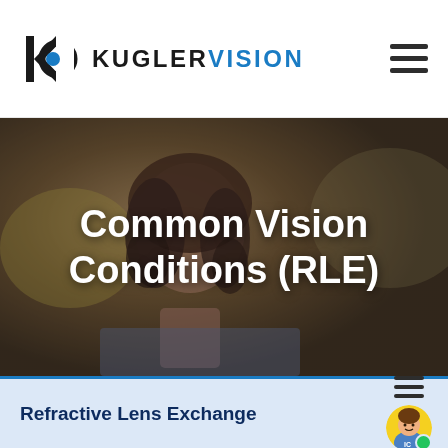KUGLER VISION
[Figure (photo): Woman looking upward with blurred background, hero banner image for Common Vision Conditions (RLE) page]
Common Vision Conditions (RLE)
Refractive Lens Exchange